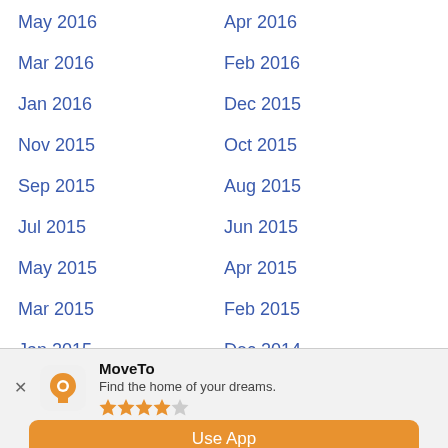May 2016
Apr 2016
Mar 2016
Feb 2016
Jan 2016
Dec 2015
Nov 2015
Oct 2015
Sep 2015
Aug 2015
Jul 2015
Jun 2015
May 2015
Apr 2015
Mar 2015
Feb 2015
Jan 2015
Dec 2014
Nov 2014
Oct 2014
Sep 2014
MoveTo
Find the home of your dreams.
★★★★☆
Use App